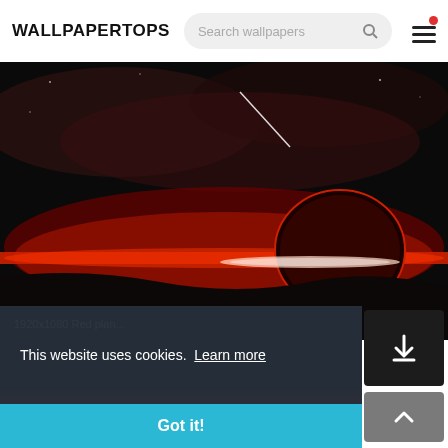WALLPAPERTOPS
[Figure (screenshot): Wallpaper website screenshot showing a red planet sci-fi wallpaper with dark sky and a shooting star. Cookie consent banner overlaid at bottom with 'This website uses cookies. Learn more' text and 'Got it!' button. Download and scroll-to-top buttons on right side.]
1920x1080 Red plan...
This website uses cookies.  Learn more
Got it!